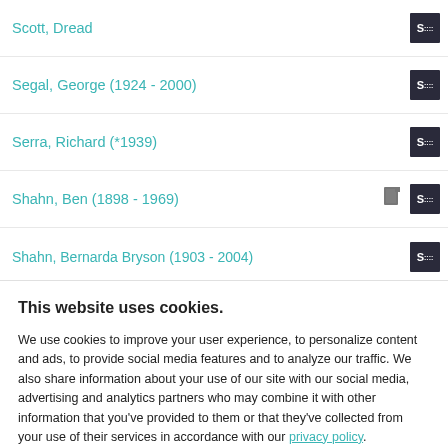Scott, Dread
Segal, George (1924 - 2000)
Serra, Richard (*1939)
Shahn, Ben (1898 - 1969)
Shahn, Bernarda Bryson (1903 - 2004)
This website uses cookies.
We use cookies to improve your user experience, to personalize content and ads, to provide social media features and to analyze our traffic. We also share information about your use of our site with our social media, advertising and analytics partners who may combine it with other information that you've provided to them or that they've collected from your use of their services in accordance with our privacy policy.
Please accept or decline our use of cookies and other information practices described in the privacy policy.  By declining, your cookie information will be deleted from our systems and our site may not function as intended.